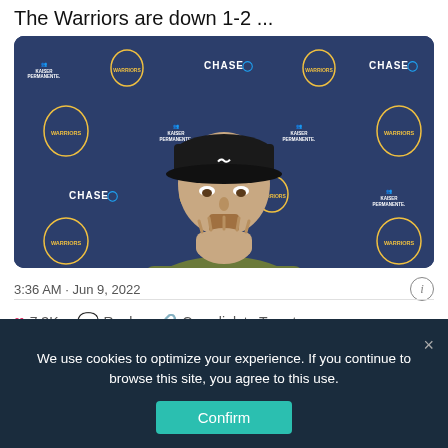The Warriors are down 1-2 ...
[Figure (photo): Photo of a man (Steph Curry) in a camo jacket and black Golden State Warriors cap, hands pressed together in front of his face, seated in front of a Golden State Warriors press conference backdrop with Chase, Kaiser Permanente, and Warriors logos.]
3:36 AM · Jun 9, 2022
7.3K  Reply  Copy link to Tweet
Read 119 replies
We use cookies to optimize your experience. If you continue to browse this site, you agree to this use.
Confirm